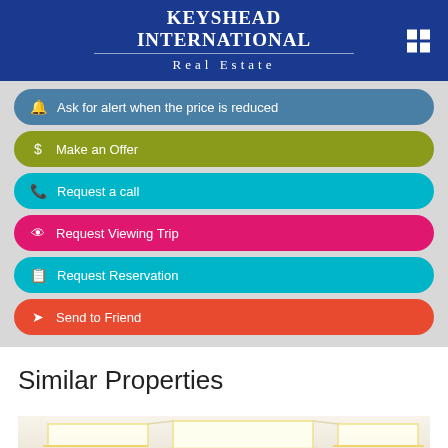KEYSHEAD INTERNATIONAL
REAL ESTATE
Ask for alert when the price is reduced
Make an Offer
Request a call
Request Viewing Trip
Request Reservation
Send to Friend
Similar Properties
[Figure (photo): Interior photo of a luxury property showing illuminated false ceiling with recessed LED strip lighting in a living room]